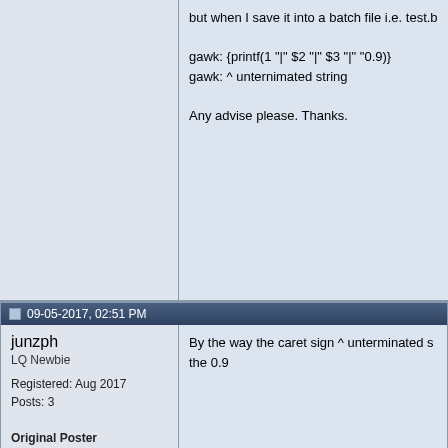but when I save it into a batch file i.e. test.b
gawk: {printf(1 "|" $2 "|" $3 "|" "0.9)}
gawk: ^ unternimated string

Any advise please. Thanks.
09-05-2017, 02:51 PM
junzph
LQ Newbie
Registered: Aug 2017
Posts: 3
Original Poster
Rep:
By the way the caret sign ^ unterminated s the 0.9
09-05-2017, 03:34 PM
MadeInGermany
Senior Member
Registered: Dec 2011
Location: Simplicity
Posts: 2,062
Rep:
An awk scripts is better put in 'ticks'
Code:
gawk -F"|" '{printf "%s|%s|%s
If you put variables into a printf format strin specially; normally you put %s place holde